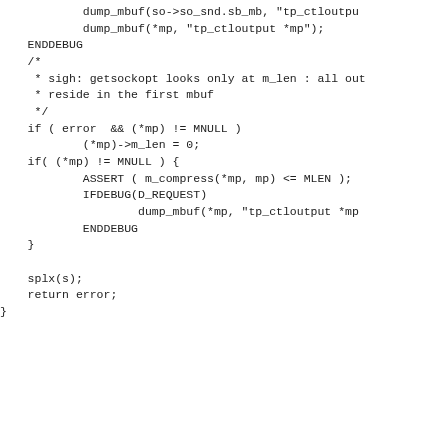dump_mbuf(so->so_snd.sb_mb, "tp_ctloutpu
            dump_mbuf(*mp, "tp_ctloutput *mp");
    ENDDEBUG
    /*
     * sigh: getsockopt looks only at m_len : all out
     * reside in the first mbuf
     */
    if ( error  && (*mp) != MNULL )
            (*mp)->m_len = 0;
    if( (*mp) != MNULL ) {
            ASSERT ( m_compress(*mp, mp) <= MLEN );
            IFDEBUG(D_REQUEST)
                    dump_mbuf(*mp, "tp_ctloutput *mp
            ENDDEBUG
    }

    splx(s);
    return error;
}